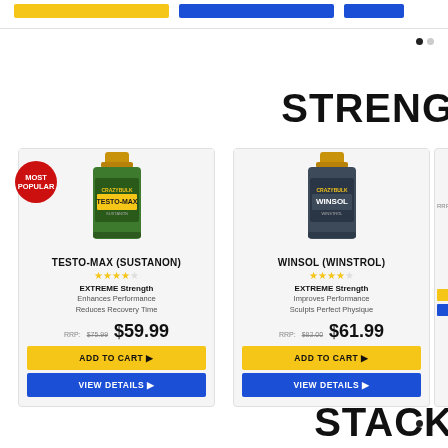[Figure (screenshot): Top portion of e-commerce product page showing yellow and blue buttons at top]
STRENG
[Figure (screenshot): Product card for TESTO-MAX (SUSTANON) with Most Popular badge, bottle image, rating stars, features, price $59.99 (RRP $75.99), Add to Cart and View Details buttons]
[Figure (screenshot): Product card for WINSOL (WINSTROL) with bottle image, rating stars, features, price $61.99 (RRP $82.00), Add to Cart and View Details buttons]
STACK